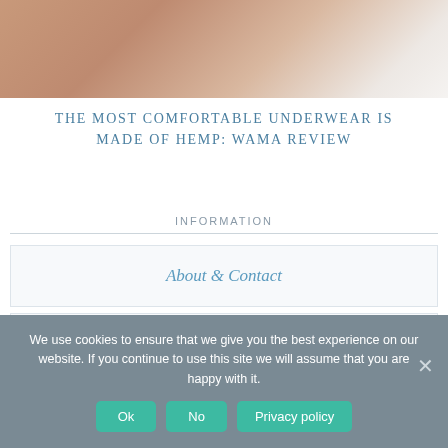[Figure (photo): Partial view of a person's torso/hip area wearing light-colored underwear, cropped at top]
THE MOST COMFORTABLE UNDERWEAR IS MADE OF HEMP: WAMA REVIEW
INFORMATION
About & Contact
Archive
We use cookies to ensure that we give you the best experience on our website. If you continue to use this site we will assume that you are happy with it.